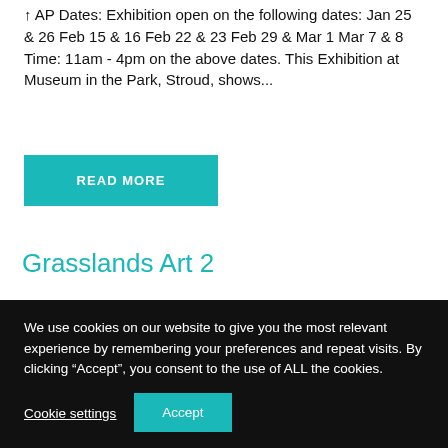↑ AP Dates: Exhibition open on the following dates: Jan 25 & 26 Feb 15 & 16 Feb 22 & 23 Feb 29 & Mar 1 Mar 7 & 8 Time: 11am - 4pm on the above dates. This Exhibition at Museum in the Park, Stroud, shows...
READ MORE
Grasslands Art 2
Location: Museum in the Park, Stratford Park, Stroud, GL5...
We use cookies on our website to give you the most relevant experience by remembering your preferences and repeat visits. By clicking “Accept”, you consent to the use of ALL the cookies.
Cookie settings
Accept